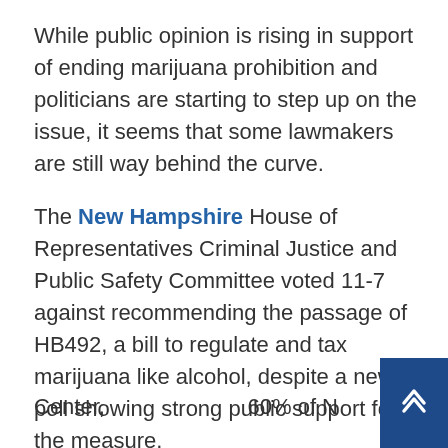While public opinion is rising in support of ending marijuana prohibition and politicians are starting to step up on the issue, it seems that some lawmakers are still way behind the curve.
The New Hampshire House of Representatives Criminal Justice and Public Safety Committee voted 11-7 against recommending the passage of HB492, a bill to regulate and tax marijuana like alcohol, despite a new poll showing strong public support for the measure.
According to a new WMUR Granite State Poll released October 25 by the University of New Hampshire Survey
[Figure (logo): logoSCGSP_1 - Survey Center logo placeholder image]
Center,                                                        60% of N